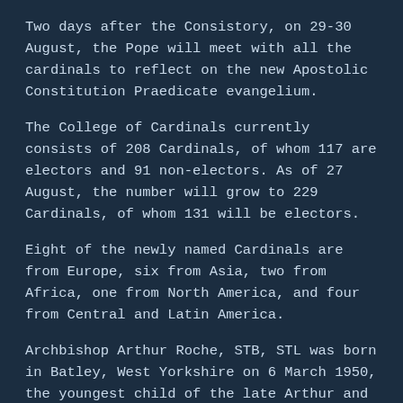Two days after the Consistory, on 29-30 August, the Pope will meet with all the cardinals to reflect on the new Apostolic Constitution Praedicate evangelium.
The College of Cardinals currently consists of 208 Cardinals, of whom 117 are electors and 91 non-electors. As of 27 August, the number will grow to 229 Cardinals, of whom 131 will be electors.
Eight of the newly named Cardinals are from Europe, six from Asia, two from Africa, one from North America, and four from Central and Latin America.
Archbishop Arthur Roche, STB, STL was born in Batley, West Yorkshire on 6 March 1950, the youngest child of the late Arthur and Frances Roche; his elder brother, Brian died at an early age, killed while on military service in the Far East, while his married sister, Margaret, lives in West Yorkshire. Archbishop Roche was educated at St Joseph's